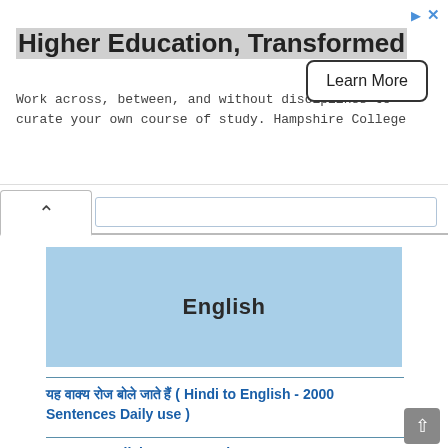[Figure (screenshot): Advertisement banner for Hampshire College: 'Higher Education, Transformed' with 'Learn More' button]
Higher Education, Transformed
Work across, between, and without disciplines to curate your own course of study. Hampshire College
[Figure (screenshot): Browser tab bar with active tab showing chevron up icon and address input field]
English
यह वाक्य रोज बोले जाते हैं ( Hindi to English - 2000 Sentences Daily use )
Tenses English Grammar List